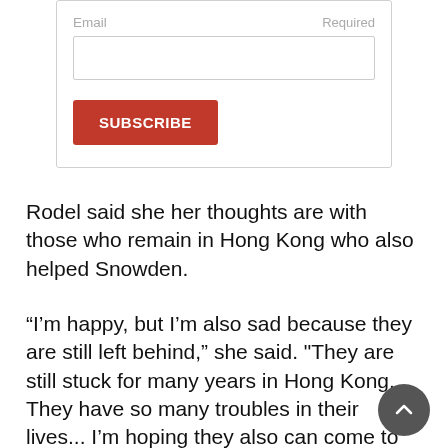[Figure (screenshot): Email subscription form with a text input field labeled 'Email' with 'Required' on the right, and an orange 'SUBSCRIBE' button below.]
Rodel said she her thoughts are with those who remain in Hong Kong who also helped Snowden.
“I’m happy, but I’m also sad because they are still left behind,” she said. "They are still stuck for many years in Hong Kong. They have so many troubles in their lives... I’m hoping they also can come to Canada and (have) a better life."